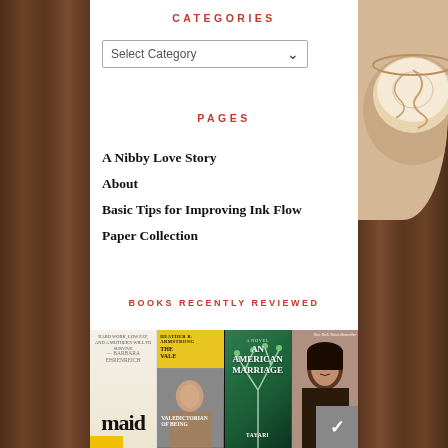CATEGORIES
[Figure (screenshot): Select Category dropdown widget]
PAGES
A Nibby Love Story
About
Basic Tips for Improving Ink Flow
Paper Collection
BOOKS RECENTLY REVIEWED
[Figure (photo): Row of four book covers: maid, The Valedictorian of Being Dead, An American Marriage, and a fourth book with a woman's portrait]